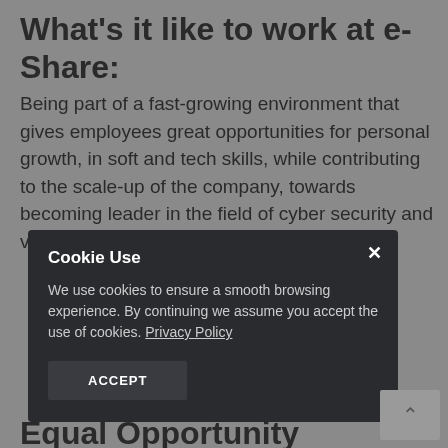What’s it like to work at e-Share:
Being part of a fast-growing environment that gives employees great opportunities for personal growth, in soft and tech skills, while contributing to the scale-up of the company, towards becoming leader in the field of cyber security and virtual collaboration.
[Figure (screenshot): Cookie consent dialog box with dark background. Contains title 'Cookie Use', body text about cookies and privacy policy, and an ACCEPT button. An X close button is in the top right corner.]
Equal Opportunity Employer: